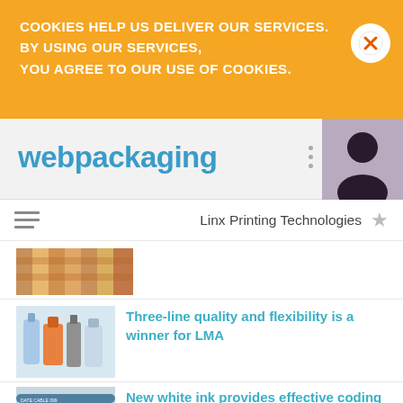COOKIES HELP US DELIVER OUR SERVICES. BY USING OUR SERVICES, YOU AGREE TO OUR USE OF COOKIES.
[Figure (logo): webpackaging logo in teal/blue]
Linx Printing Technologies ★
[Figure (photo): Small thumbnail image of colorful packaging products]
[Figure (photo): Thumbnail image of cylindrical packaging products (bottles/tubes)]
Three-line quality and flexibility is a winner for LMA
[Figure (photo): Thumbnail image of dark cables with white ink coding]
New white ink provides effective coding on dark cables
Linx expands in Scandinavia